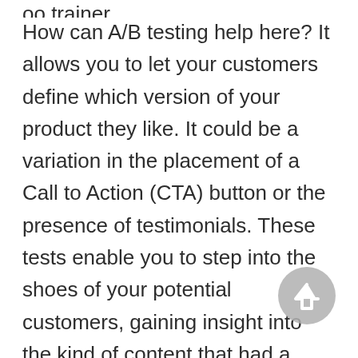oo trainer.
How can A/B testing help here? It allows you to let your customers define which version of your product they like. It could be a variation in the placement of a Call to Action (CTA) button or the presence of testimonials. These tests enable you to step into the shoes of your potential customers, gaining insight into the kind of content that had a higher attention rate. Additionally, which types of keyword pulled customers to pages or a particular phrase that inspired them to sign up.
The testing allows you to discover wh... changes you need to make to your original